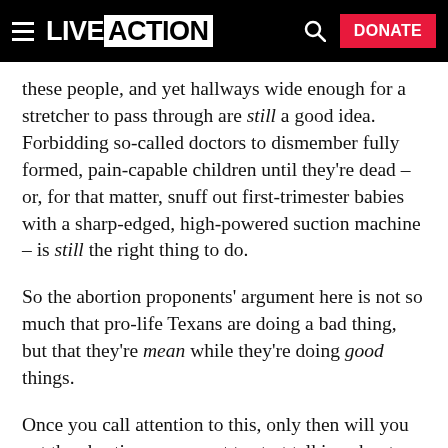LIVE ACTION | DONATE
these people, and yet hallways wide enough for a stretcher to pass through are still a good idea. Forbidding so-called doctors to dismember fully formed, pain-capable children until they're dead – or, for that matter, snuff out first-trimester babies with a sharp-edged, high-powered suction machine – is still the right thing to do.
So the abortion proponents' argument here is not so much that pro-life Texans are doing a bad thing, but that they're mean while they're doing good things.
Once you call attention to this, only then will you get the abortion proponent to start talking about why scheduling a follow-up after administering